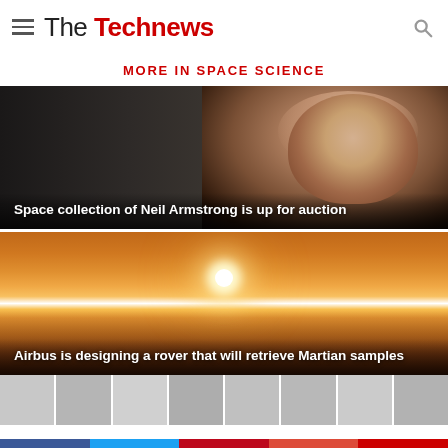The Technews
MORE IN SPACE SCIENCE
[Figure (photo): Close-up portrait of Neil Armstrong with dark background]
Space collection of Neil Armstrong is up for auction
[Figure (photo): Sunset over a flat landscape with bright sun on the horizon, orange sky]
Airbus is designing a rover that will retrieve Martian samples
[Figure (photo): Row of small thumbnail images in grayscale]
Facebook Twitter Pinterest Google+ Comment social sharing buttons